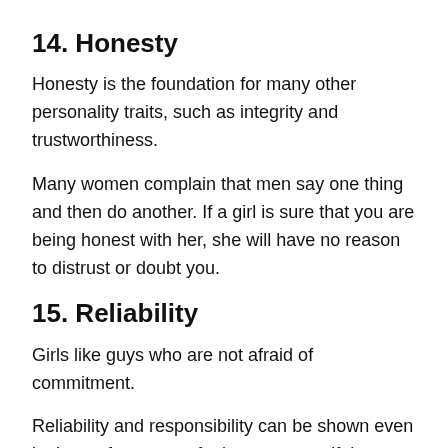14. Honesty
Honesty is the foundation for many other personality traits, such as integrity and trustworthiness.
Many women complain that men say one thing and then do another. If a girl is sure that you are being honest with her, she will have no reason to distrust or doubt you.
15. Reliability
Girls like guys who are not afraid of commitment.
Reliability and responsibility can be shown even in the performance of minor requests if the man has given his promise.
16. Sexual compatibility